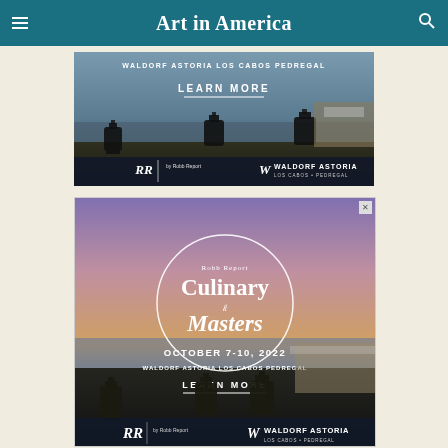Art in America
[Figure (screenshot): Advertisement for Waldorf Astoria Los Cabos Pedregal — Robb Report Culinary Masters. Shows lanterns and resort scenery with text: WALDORF ASTORIA LOS CABOS PEDREGAL, LEARN MORE, RR by Robb Report, WALDORF ASTORIA logos.]
[Figure (screenshot): Advertisement for Robb Report Culinary Masters at Waldorf Astoria Los Cabos Pedregal, October 7-10 2022. Full ad with circle logo, LEARN MORE button, lantern imagery and resort scenery at bottom. Close button in top right corner.]